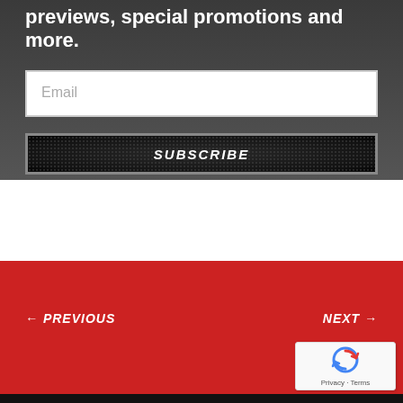previews, special promotions and more.
[Figure (screenshot): Email input field with placeholder text 'Email']
[Figure (screenshot): Subscribe button with dark carbon-fiber texture background and italic bold white 'SUBSCRIBE' text]
← PREVIOUS
NEXT →
[Figure (logo): reCAPTCHA badge with circular arrow icon and 'Privacy - Terms' text]